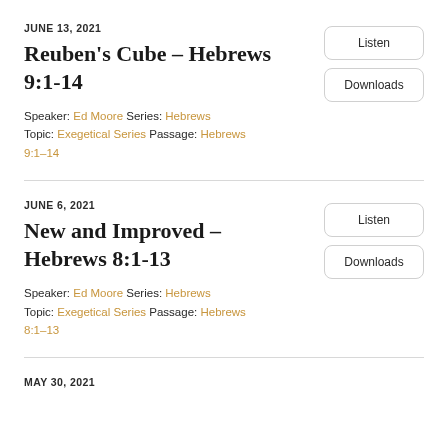JUNE 13, 2021
Reuben's Cube - Hebrews 9:1-14
Speaker: Ed Moore Series: Hebrews
Topic: Exegetical Series Passage: Hebrews 9:1–14
JUNE 6, 2021
New and Improved - Hebrews 8:1-13
Speaker: Ed Moore Series: Hebrews
Topic: Exegetical Series Passage: Hebrews 8:1–13
MAY 30, 2021